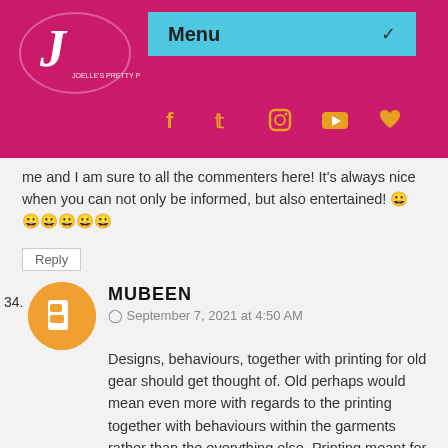[Figure (logo): Cursive 'J' logo in white on magenta/pink background]
Menu
me and I am sure to all the commenters here! It's always nice when you can not only be informed, but also entertained! 😊😊😊😊😊😊
Reply
34.
MUBEEN
September 7, 2021 at 4:50 AM
Designs, behaviours, together with printing for old gear should get thought of. Old perhaps would mean even more with regards to the printing together with behaviours within the garments rather than the everything else. Printing meant for old wardrobe are likely to be flower printing or simply paisley printing. You ought to decide how large any printing, overly. Little together with finer printing hide out what precisely really should be covered and may also produce man appearance sauna